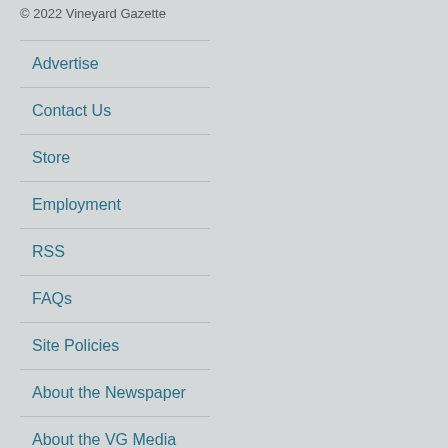© 2022 Vineyard Gazette
Advertise
Contact Us
Store
Employment
RSS
FAQs
Site Policies
About the Newspaper
About the VG Media Group
Newsletters